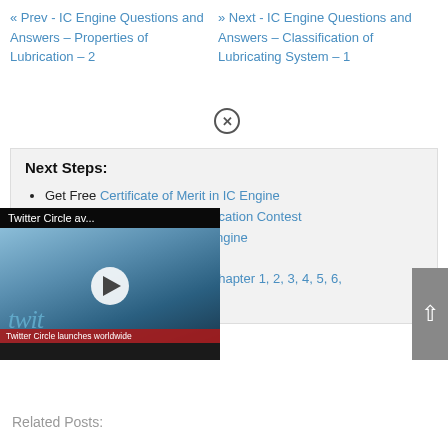« Prev - IC Engine Questions and Answers – Properties of Lubrication – 2
» Next - IC Engine Questions and Answers – Classification of Lubricating System – 1
Next Steps:
Get Free Certificate of Merit in IC Engine
Participate in IC Engine Certification Contest
Become a Top Ranker in IC Engine
Take IC Engine Tests
Chapterwise Practice Tests: Chapter 1, 2, 3, 4, 5, 6,
ts: Chapter 1, 2, 3, 4, 5, 6, 7,
[Figure (screenshot): Twitter Circle video overlay showing a smartphone with Twitter app, play button, and caption 'Twitter Circle launches worldwide']
Related Posts: